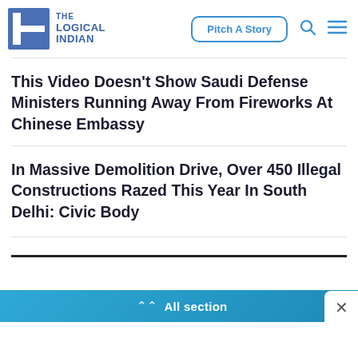THE LOGICAL INDIAN — Pitch A Story
This Video Doesn't Show Saudi Defense Ministers Running Away From Fireworks At Chinese Embassy
In Massive Demolition Drive, Over 450 Illegal Constructions Razed This Year In South Delhi: Civic Body